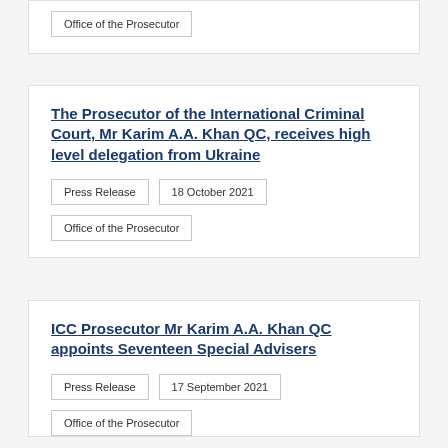Office of the Prosecutor
The Prosecutor of the International Criminal Court, Mr Karim A.A. Khan QC, receives high level delegation from Ukraine
Press Release | 18 October 2021
Office of the Prosecutor
ICC Prosecutor Mr Karim A.A. Khan QC appoints Seventeen Special Advisers
Press Release | 17 September 2021
Office of the Prosecutor